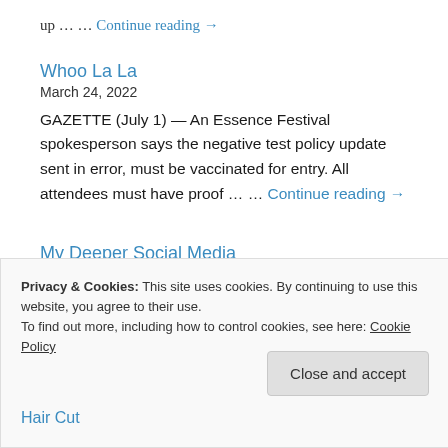up … … Continue reading →
Whoo La La
March 24, 2022
GAZETTE (July 1) — An Essence Festival spokesperson says the negative test policy update sent in error, must be vaccinated for entry. All attendees must have proof … … Continue reading →
My Deeper Social Media
January 11, 2022
Privacy & Cookies: This site uses cookies. By continuing to use this website, you agree to their use.
To find out more, including how to control cookies, see here: Cookie Policy
Close and accept
Hair Cut